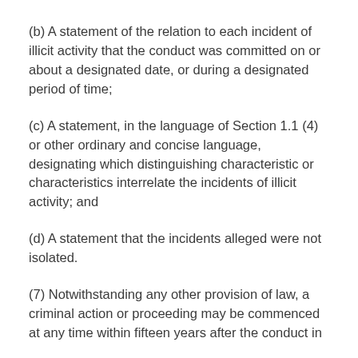(b) A statement of the relation to each incident of illicit activity that the conduct was committed on or about a designated date, or during a designated period of time;
(c) A statement, in the language of Section 1.1 (4) or other ordinary and concise language, designating which distinguishing characteristic or characteristics interrelate the incidents of illicit activity; and
(d) A statement that the incidents alleged were not isolated.
(7) Notwithstanding any other provision of law, a criminal action or proceeding may be commenced at any time within fifteen years after the conduct in